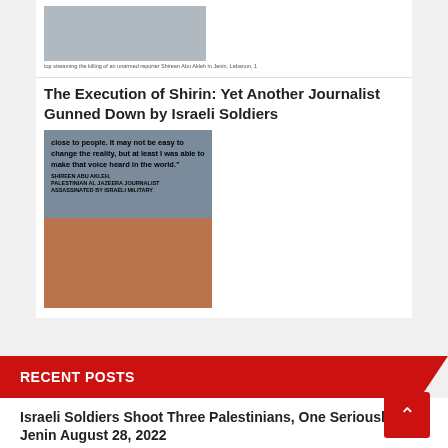[Figure (photo): Top article thumbnail image - appears to show a table setting or indoor scene]
top streaming the killing of an unarmed reporter Shireen Abu Akleh in Jenin, Lebanon, 1
The Execution of Shirin: Yet Another Journalist Gunned Down by Israeli Soldiers
[Figure (photo): Photo of Shireen Abu Akleh with quote overlay: 'close to people. It may not be easy to change the reality, but at least I was able to make that voice heard in the world.' SHIREEN ABU AKLEH, PALESTINIAN AL JAZEERA JOURNALIST ASSASSINATED BY ISRAELI MILITARY]
RECENT POSTS
Israeli Soldiers Shoot Three Palestinians, One Seriously, In Jenin August 28, 2022